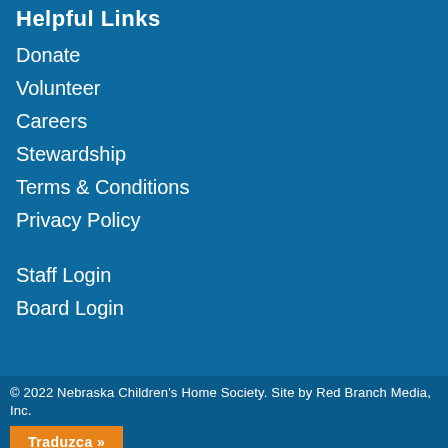Helpful Links
Donate
Volunteer
Careers
Stewardship
Terms & Conditions
Privacy Policy
Staff Login
Board Login
© 2022 Nebraska Children's Home Society. Site by Red Branch Media, Inc.
Traduzca »